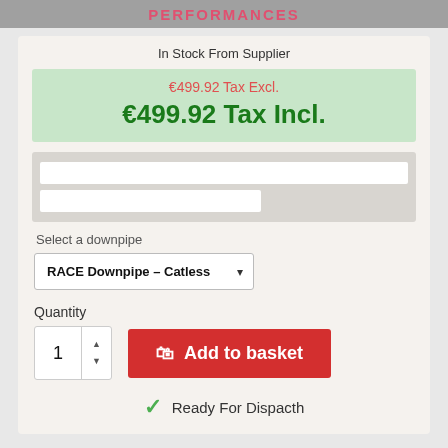PERFORMANCES
In Stock From Supplier
€499.92 Tax Excl.
€499.92 Tax Incl.
Select a downpipe
RACE Downpipe - Catless
Quantity
1
Add to basket
Ready For Dispacth